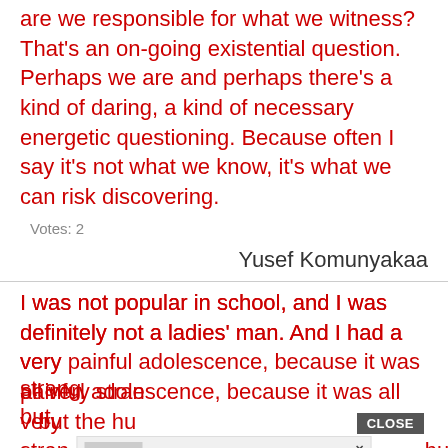are we responsible for what we witness? That's an on-going existential question. Perhaps we are and perhaps there's a kind of daring, a kind of necessary energetic questioning. Because often I say it's not what we know, it's what we can risk discovering.
Votes: 2
Yusef Komunyakaa
I was not popular in school, and I was definitely not a ladies' man. And I had a very painful adolescence, because it was all very strange ... but the hu... existential 'God, I exist, and nobody cares' of being a teenager were extremely pronounced
[Figure (other): Advertisement overlay: '37 ITEMS PEOPLE LOVE TO PURCHASE ON AMAZON' with product images and 22 Words logo, plus a CLOSE button]